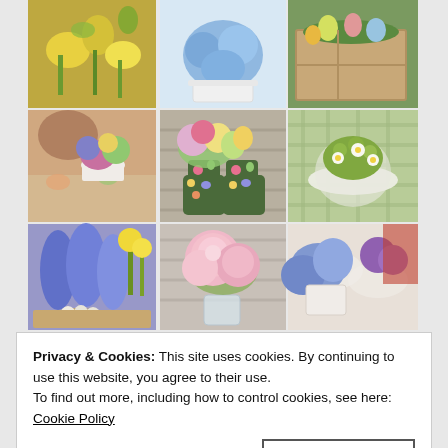[Figure (photo): 3x3 grid of spring flower arrangement photos: top row shows yellow daffodils with greenery, blue hydrangeas in white pot, and Easter eggs in a wooden crate with moss; middle row shows mixed garden flowers in vintage teacup setting, floral wellington boots filled with flowers, and white daisies with green berries on plaid tablecloth; bottom row shows blue hyacinths with daffodils and nest with eggs, pink peonies in glass vase, and blue hydrangeas with purple flowers on floral tablecloth.]
Privacy & Cookies: This site uses cookies. By continuing to use this website, you agree to their use.
To find out more, including how to control cookies, see here:
Cookie Policy